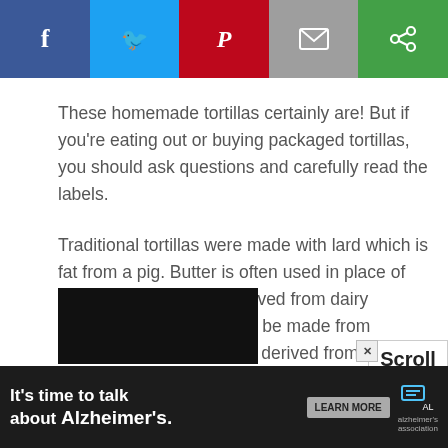[Figure (other): Social media share bar with Facebook (blue), Twitter (light blue), Pinterest (red), Email/Mail (gray), and share (green) buttons]
These homemade tortillas certainly are! But if you're eating out or buying packaged tortillas, you should ask questions and carefully read the labels.
Traditional tortillas were made with lard which is fat from a pig. Butter is often used in place of lard. Whey is actually derived from dairy products and glycerin can be made from animals. Some glycerin is derived from vegetables, so at a restaurant, it's better to ask for glycerin-free tortillas. Any one of these ingredients would disqualify a tortilla as vegan.
[Figure (screenshot): Ad banner: It's time to talk about Alzheimer's. with Learn More button and Alzheimer's Association logo]